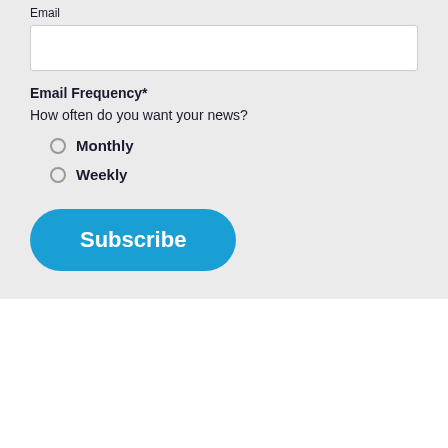Email
Email Frequency* How often do you want your news?
Monthly
Weekly
Subscribe